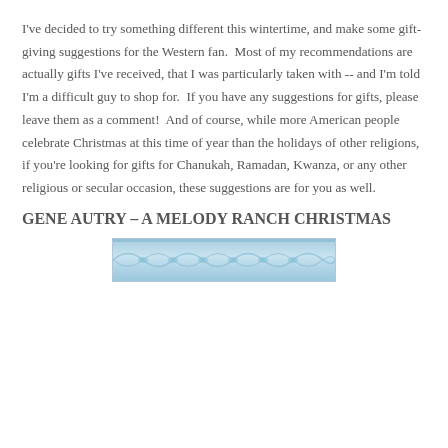I've decided to try something different this wintertime, and make some gift-giving suggestions for the Western fan.  Most of my recommendations are actually gifts I've received, that I was particularly taken with -- and I'm told I'm a difficult guy to shop for.  If you have any suggestions for gifts, please leave them as a comment!  And of course, while more American people celebrate Christmas at this time of year than the holidays of other religions, if you're looking for gifts for Chanukah, Ramadan, Kwanza, or any other religious or secular occasion, these suggestions are for you as well.
GENE AUTRY – A MELODY RANCH CHRISTMAS
[Figure (illustration): Partial view of a decorative book or album cover with blue tones and ornamental design — cropped at bottom of page.]